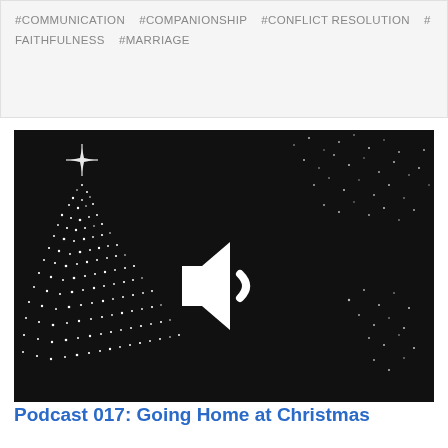#COMMUNICATION  #COMPANIONSHIP  #CONFLICT RESOLUTION  #FAITHFULNESS  #MARRIAGE
[Figure (illustration): Dark background with a glittering Christmas tree made of white sparkle lights on the left side, and a spray of white sparkles on the right. A large white speaker/audio icon is centered in the image.]
Podcast 017: Going Home at Christmas